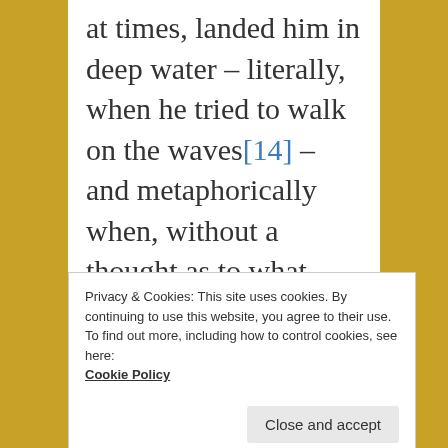at times, landed him in deep water – literally, when he tried to walk on the waves[14] – and metaphorically when, without a thought as to what might happen
Privacy & Cookies: This site uses cookies. By continuing to use this website, you agree to their use.
To find out more, including how to control cookies, see here: Cookie Policy
[Close and accept]
y g off hi...